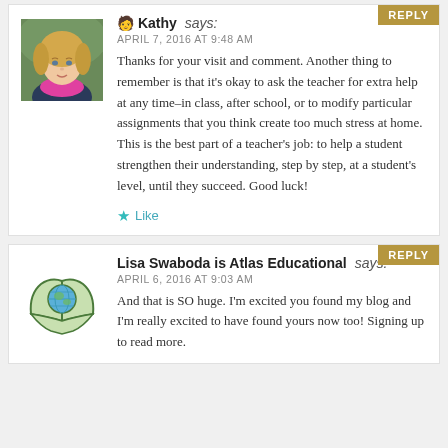[Figure (photo): Profile photo of Kathy, a woman with blonde hair and a pink scarf, outdoors]
Kathy says:
APRIL 7, 2016 AT 9:48 AM
Thanks for your visit and comment. Another thing to remember is that it's okay to ask the teacher for extra help at any time–in class, after school, or to modify particular assignments that you think create too much stress at home. This is the best part of a teacher's job: to help a student strengthen their understanding, step by step, at a student's level, until they succeed. Good luck!
Like
[Figure (logo): Atlas Educational logo: green book/hands holding a globe]
Lisa Swaboda is Atlas Educational says:
APRIL 6, 2016 AT 9:03 AM
And that is SO huge. I'm excited you found my blog and I'm really excited to have found yours now too! Signing up to read more.